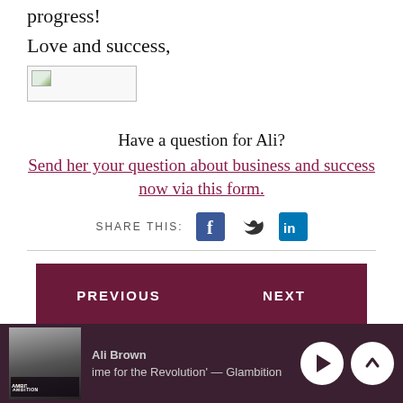progress!
Love and success,
[Figure (illustration): Signature image placeholder with broken image icon]
Have a question for Ali?
Send her your question about business and success now via this form.
SHARE THIS:
[Figure (other): Navigation buttons: PREVIOUS and NEXT on dark maroon background]
Ali Brown — ime for the Revolution' — Glambition  [play and up controls]